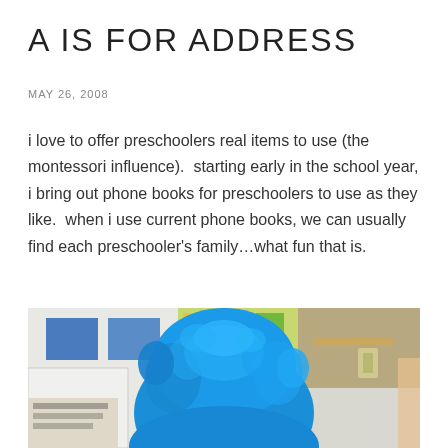A IS FOR ADDRESS
MAY 26, 2008
i love to offer preschoolers real items to use (the montessori influence).  starting early in the school year, i bring out phone books for preschoolers to use as they like.  when i use current phone books, we can usually find each preschooler's family...what fun that is.
[Figure (photo): A blue fuzzy stuffed animal or puppet (resembling Cookie Monster) photographed from behind in a classroom setting with colorful papers and shelves visible in the background.]